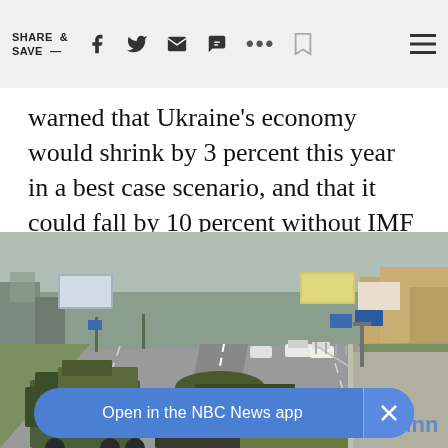SHARE & SAVE —
warned that Ukraine's economy would shrink by 3 percent this year in a best case scenario, and that it could fall by 10 percent without IMF help.
[Figure (photo): Military convoy of tanks and armored vehicles traveling along a road through a town, likely in Ukraine or Crimea region. Civilian cars also visible on the road. Buildings and billboards visible in background.]
Open in the NBC News app